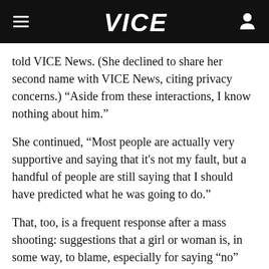VICE
told VICE News. (She declined to share her second name with VICE News, citing privacy concerns.) “Aside from these interactions, I know nothing about him.”
She continued, “Most people are actually very supportive and saying that it’s not my fault, but a handful of people are still saying that I should have predicted what he was going to do.”
That, too, is a frequent response after a mass shooting: suggestions that a girl or woman is, in some way, to blame, especially for saying “no”